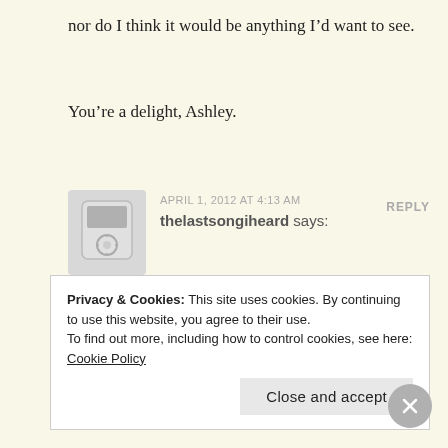nor do I think it would be anything I’d want to see.
You’re a delight, Ashley.
APRIL 1, 2012 AT 4:13 AM
REPLY
thelastsongiheard says:
LOL I’m curious to know more… I particularly liked the following…
Life, Chill, and his Mr. W… [truncated]
Privacy & Cookies: This site uses cookies. By continuing to use this website, you agree to their use.
To find out more, including how to control cookies, see here: Cookie Policy
Close and accept